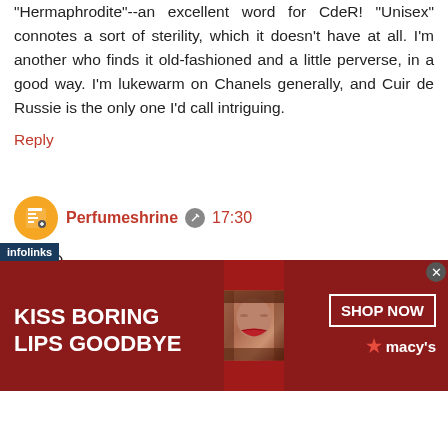"Hermaphrodite"--an excellent word for CdeR! "Unisex" connotes a sort of sterility, which it doesn't have at all. I'm another who finds it old-fashioned and a little perverse, in a good way. I'm lukewarm on Chanels generally, and Cuir de Russie is the only one I'd call intriguing.
Reply
Perfumeshrine 17:30
Dear D,
this is so funny and true for a perfumeholic: "my favorite scent of all time (for this year)".
I wouldn't have pegged you as a non-aldehydic lady, though; I am surprised!
Warmth, aloofness and class it does have in copious amounts. Interesting that you perceive it as modern: I
[Figure (screenshot): Advertisement banner: dark red background with 'KISS BORING LIPS GOODBYE' text on left, woman's face with red lips in center, 'SHOP NOW' button and Macy's logo on right. Infolinks tag visible at top left of ad.]